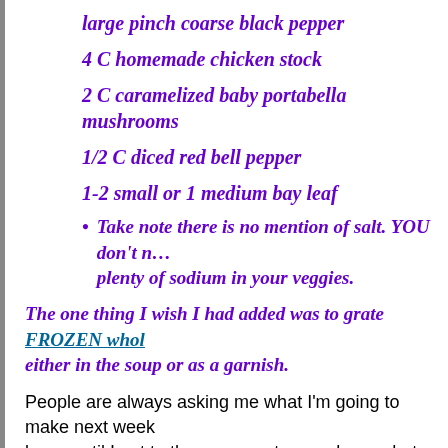large pinch coarse black pepper
4 C homemade chicken stock
2 C caramelized baby portabella mushrooms
1/2 C diced red bell pepper
1-2 small or 1 medium bay leaf
Take note there is no mention of salt. YOU don't need it, plenty of sodium in your veggies.
The one thing I wish I had added was to grate FROZEN whole... either in the soup or as a garnish.
People are always asking me what I'm going to make next week, know until I get to the grocery store and see what looks good in and what's on sale in the butcher shop. And of course, whatever cheese case. And don't forget my own freeze for luscious homer desserts. This week there is both Dark Cherry and Old Fashione Cream. Plus your choice of New York, Chocolate Chip, or Milk